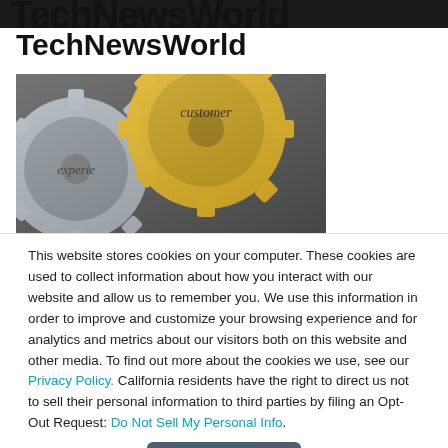TechNewsWorld
TechNewsWorld
[Figure (photo): Close-up of interlocking metallic gears with the words 'customer', 'experience' embossed on them — one gear is gold/yellow, another is silver-gray.]
This website stores cookies on your computer. These cookies are used to collect information about how you interact with our website and allow us to remember you. We use this information in order to improve and customize your browsing experience and for analytics and metrics about our visitors both on this website and other media. To find out more about the cookies we use, see our Privacy Policy. California residents have the right to direct us not to sell their personal information to third parties by filing an Opt-Out Request: Do Not Sell My Personal Info.
Accept